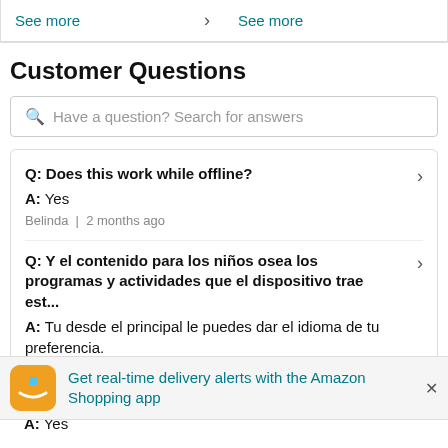See more  >
See more
Customer Questions
Have a question? Search for answers
Q: Does this work while offline?
A: Yes
Belinda | 2 months ago
Q: Y el contenido para los niños osea los programas y actividades que el dispositivo trae est...
A: Tu desde el principal le puedes dar el idioma de tu preferencia.
Get real-time delivery alerts with the Amazon Shopping app
A: Yes